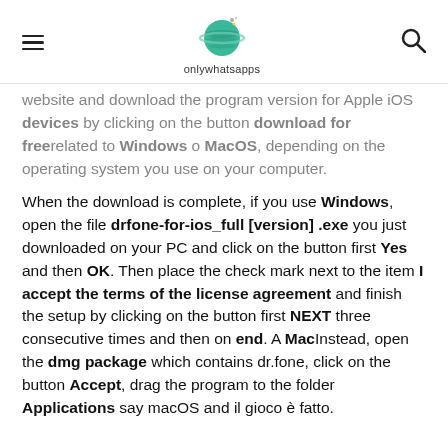onlywhatsapps
website and download the program version for Apple iOS devices by clicking on the button download for free related to Windows o MacOS, depending on the operating system you use on your computer.
When the download is complete, if you use Windows, open the file drfone-for-ios_full [version] .exe you just downloaded on your PC and click on the button first Yes and then OK. Then place the check mark next to the item I accept the terms of the license agreement and finish the setup by clicking on the button first NEXT three consecutive times and then on end. A Mac Instead, open the dmg package which contains dr.fone, click on the button Accept, drag the program to the folder Applications say macOS and il gioco è fatto.